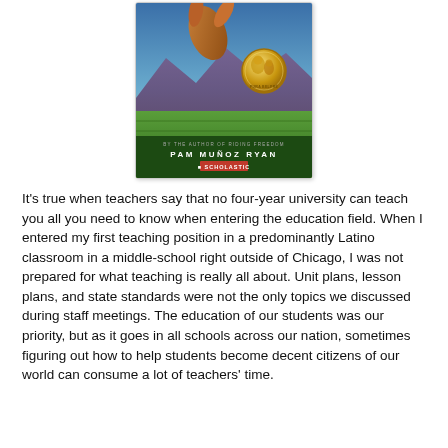[Figure (illustration): Book cover of a Scholastic book by Pam Muñoz Ryan (author of Riding Freedom), featuring an illustrated scene with a figure, mountains, green fields, a blue sky, and a gold Pura Belpré Award medal. Publisher: Scholastic.]
It's true when teachers say that no four-year university can teach you all you need to know when entering the education field. When I entered my first teaching position in a predominantly Latino classroom in a middle-school right outside of Chicago, I was not prepared for what teaching is really all about. Unit plans, lesson plans, and state standards were not the only topics we discussed during staff meetings. The education of our students was our priority, but as it goes in all schools across our nation, sometimes figuring out how to help students become decent citizens of our world can consume a lot of teachers' time.